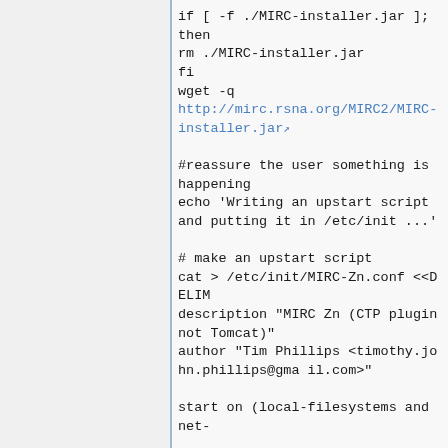if [ -f ./MIRC-installer.jar ]; then
rm ./MIRC-installer.jar
fi
wget -q
http://mirc.rsna.org/MIRC2/MIRC-installer.jar

#reassure the user something is happening
echo 'Writing an upstart script and putting it in /etc/init ...'

# make an upstart script
cat > /etc/init/MIRC-Zn.conf <<DELIM
description "MIRC Zn (CTP plugin not Tomcat)"
author "Tim Phillips <timothy.john.phillips@gmail.com>"

start on (local-filesystems and net-